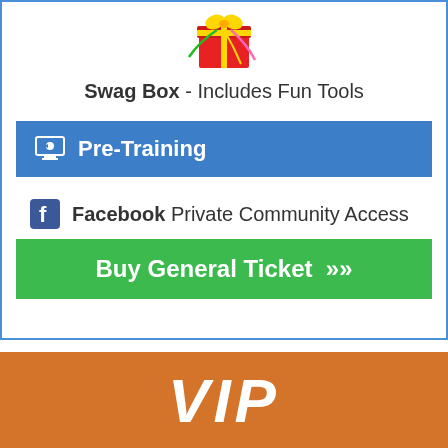[Figure (illustration): Swag box gift with ribbons and confetti icon]
Swag Box - Includes Fun Tools
Pre-Training
Facebook Private Community Access
Buy General Ticket »
VIP